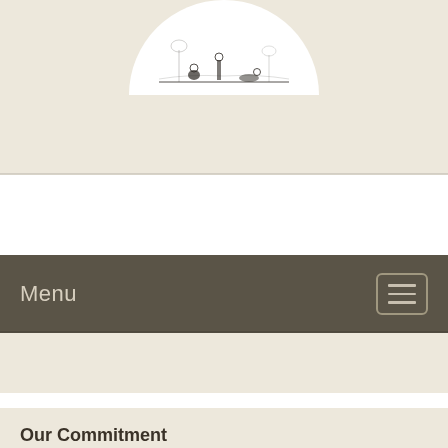[Figure (illustration): A semicircular logo/illustration showing a historical scene with figures in a landscape, rendered in black and white sketch style on a white semicircle background, centered at the top of the page.]
Menu
[Figure (other): Hamburger menu icon button with three horizontal lines inside a rounded rectangle border.]
Our Commitment